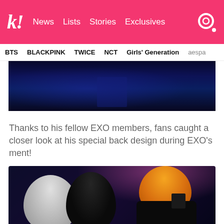k! News Lists Stories Exclusives
BTS BLACKPINK TWICE NCT Girls' Generation aespa
[Figure (photo): Dark concert stage photo with blue lighting]
Thanks to his fellow EXO members, fans caught a closer look at his special back design during EXO's ment!
[Figure (photo): Photo of EXO members on stage, one with white hair, one with orange hair, one in black, huddled together]